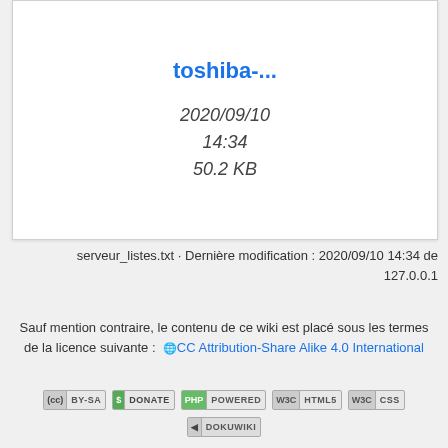[Figure (other): File preview card showing toshiba-... filename with date and size metadata]
toshiba-...
2020/09/10
14:34
50.2 KB
serveur_listes.txt · Dernière modification : 2020/09/10 14:34 de 127.0.0.1
Sauf mention contraire, le contenu de ce wiki est placé sous les termes de la licence suivante : CC Attribution-Share Alike 4.0 International
[Figure (logo): Badge row: CC BY-SA, Donate, PHP Powered, W3C HTML5, W3C CSS, DokuWiki badges]